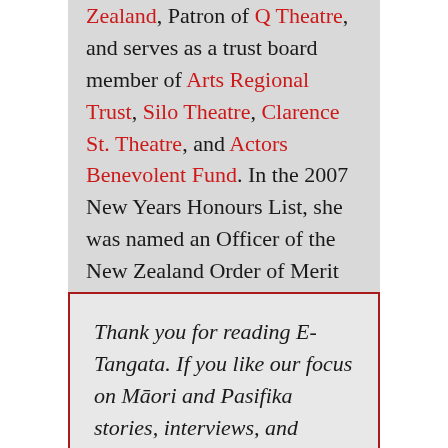Zealand, Patron of Q Theatre, and serves as a trust board member of Arts Regional Trust, Silo Theatre, Clarence St. Theatre, and Actors Benevolent Fund. In the 2007 New Years Honours List, she was named an Officer of the New Zealand Order of Merit "for services to theatre and the community." After six years' study she is now fluent in Te Reo.
Thank you for reading E-Tangata. If you like our focus on Māori and Pasifika stories, interviews, and